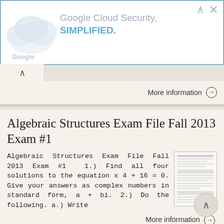[Figure (screenshot): Google Cloud Security advertisement banner with cloud logo graphic on left and text 'Google Cloud Security. SIMPLIFIED.' in grey and blue on white background with blue border]
More information →
Algebraic Structures Exam File Fall 2013 Exam #1
Algebraic Structures Exam File Fall 2013 Exam #1  1.) Find all four solutions to the equation x 4 + 16 = 0. Give your answers as complex numbers in standard form, a + bi. 2.) Do the following. a.) Write
More information →
Definitions. Notations. Injective, Surjective and Bijective. Divides. Cartesian Product. Relations. Equivalence Relations.